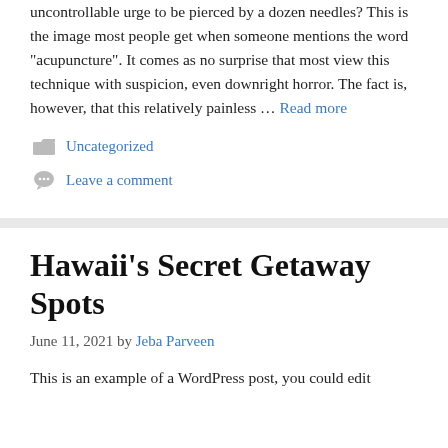uncontrollable urge to be pierced by a dozen needles? This is the image most people get when someone mentions the word “acupuncture”. It comes as no surprise that most view this technique with suspicion, even downright horror. The fact is, however, that this relatively painless … Read more
Uncategorized
Leave a comment
Hawaii’s Secret Getaway Spots
June 11, 2021 by Jeba Parveen
This is an example of a WordPress post, you could edit